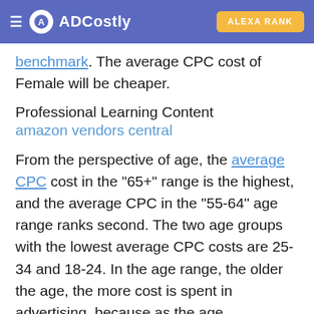ADCostly | ALEXA RANK
benchmark. The average CPC cost of Female will be cheaper.
Professional Learning Content
amazon vendors central
From the perspective of age, the average CPC cost in the "65+" range is the highest, and the average CPC in the "55-64" age range ranks second. The two age groups with the lowest average CPC costs are 25-34 and 18-24. In the age range, the older the age, the more cost is spent in advertising, because as the age